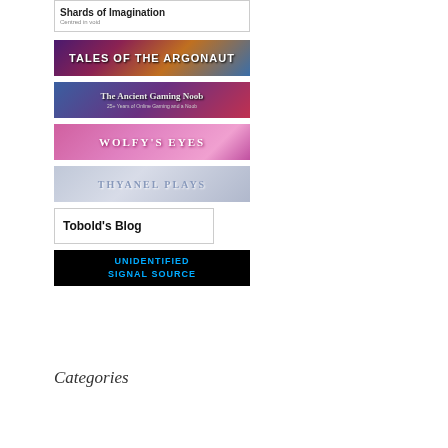[Figure (logo): Shards of Imagination blog logo - white box with bold title and subtitle]
[Figure (logo): Tales of the Argonaut banner - colorful gradient background with stylized text]
[Figure (logo): The Ancient Gaming Noob banner - purple/blue gradient with blog name]
[Figure (logo): Wolfy's Eyes banner - pink gradient with uppercase stylized text]
[Figure (logo): Thyanel Plays banner - light blue/grey gradient with uppercase text]
[Figure (logo): Tobold's Blog - white box with bold black text]
[Figure (logo): Unidentified Signal Source banner - black background with blue glowing text]
My Tweets
Categories